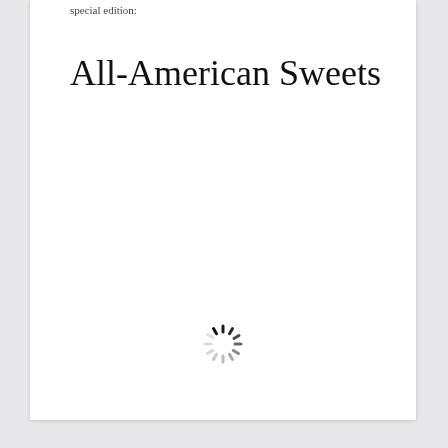special edition:
All-American Sweets
[Figure (other): A loading spinner icon with radiating dashes arranged in a circle, partially dark at top-left and fading to light gray around the rest of the circle.]